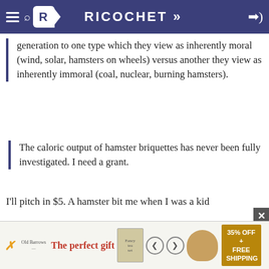RICOCHET
generation to one type which they view as inherently moral (wind, solar, hamsters on wheels) versus another they view as inherently immoral (coal, nuclear, burning hamsters).
The caloric output of hamster briquettes has never been fully investigated. I need a grant.
I'll pitch in $5. A hamster bit me when I was a kid